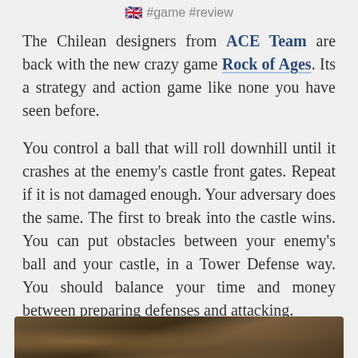🇬🇧 #game #review
The Chilean designers from ACE Team are back with the new crazy game Rock of Ages. Its a strategy and action game like none you have seen before.
You control a ball that will roll downhill until it crashes at the enemy's castle front gates. Repeat if it is not damaged enough. Your adversary does the same. The first to break into the castle wins. You can put obstacles between your enemy's ball and your castle, in a Tower Defense way. You should balance your time and money between preparing defenses and attacking.
[Figure (photo): Partial view of a game screenshot showing a dark medieval landscape scene at the bottom of the page]